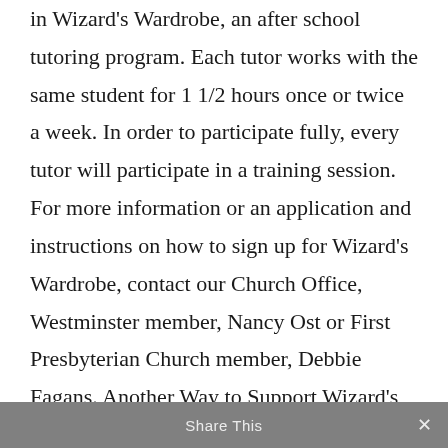in Wizard's Wardrobe, an after school tutoring program. Each tutor works with the same student for 1 1/2 hours once or twice a week. In order to participate fully, every tutor will participate in a training session. For more information or an application and instructions on how to sign up for Wizard's Wardrobe, contact our Church Office, Westminster member, Nancy Ost or First Presbyterian Church member, Debbie Fagans. Another Way to Support Wizard's Wardrobe If you are doing any Amazon shopping and would like to support the Wizard's Wardrobe, please consider visiting Amazon by first going and finding “South End
Share This ✕